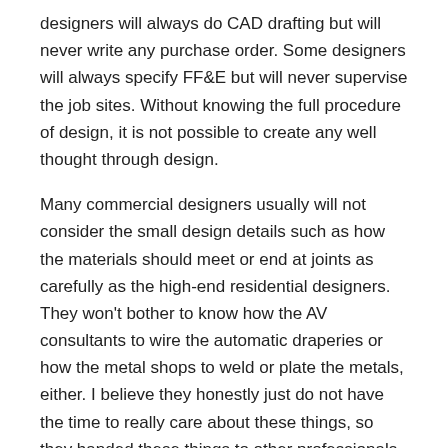designers will always do CAD drafting but will never write any purchase order. Some designers will always specify FF&E but will never supervise the job sites. Without knowing the full procedure of design, it is not possible to create any well thought through design.
Many commercial designers usually will not consider the small design details such as how the materials should meet or end at joints as carefully as the high-end residential designers. They won't bother to know how the AV consultants to wire the automatic draperies or how the metal shops to weld or plate the metals, either. I believe they honestly just do not have the time to really care about these things, so they handed these things to other professionals completely and let them take care of the details and moved onto another project. Therefore, it created a situation that you let non-designers handle the design details. That is why many commercial spaces look great from far distance but when you walk closer, you will spot many poorly designed or executed design details.
Sometimes when I read some articles talking about luxury stuff for